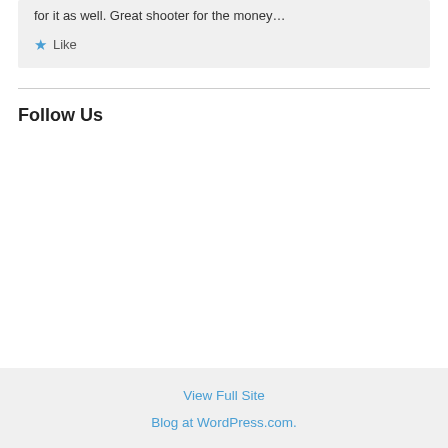for it as well. Great shooter for the money…
★ Like
Follow Us
View Full Site
Blog at WordPress.com.